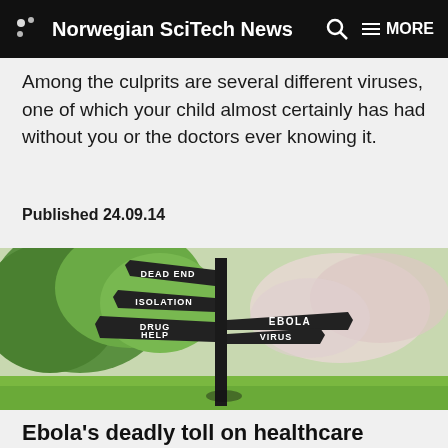Norwegian SciTech News
Among the culprits are several different viruses, one of which your child almost certainly has had without you or the doctors ever knowing it.
Published 24.09.14
[Figure (photo): A signpost in a park setting with multiple directional signs reading: DEAD END, ISOLATION, DRUG HELP, EBOLA, VIRUS. Trees with green and pink blossoms in the background.]
Ebola's deadly toll on healthcare workers